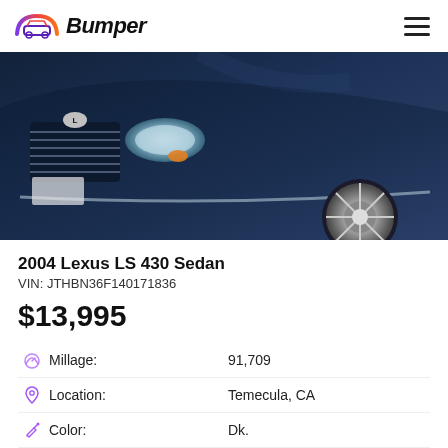Bumper
[Figure (photo): Front view of a dark navy blue 2004 Lexus LS 430 Sedan, showing the front grille, headlights, and wheel.]
2004 Lexus LS 430 Sedan
VIN: JTHBN36F140171836
$13,995
| Attribute | Value |
| --- | --- |
| Millage: | 91,709 |
| Location: | Temecula, CA |
| Color: | Dk. |